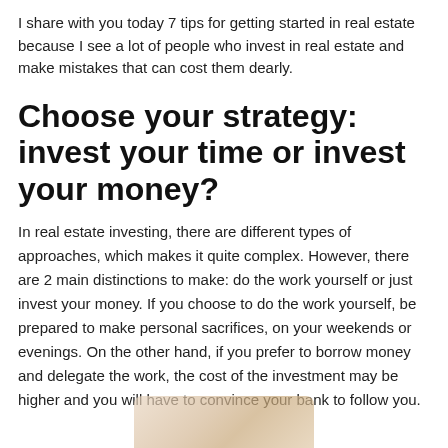I share with you today 7 tips for getting started in real estate because I see a lot of people who invest in real estate and make mistakes that can cost them dearly.
Choose your strategy: invest your time or invest your money?
In real estate investing, there are different types of approaches, which makes it quite complex. However, there are 2 main distinctions to make: do the work yourself or just invest your money. If you choose to do the work yourself, be prepared to make personal sacrifices, on your weekends or evenings. On the other hand, if you prefer to borrow money and delegate the work, the cost of the investment may be higher and you will have to convince your bank to follow you.
[Figure (photo): Partial image of hands or objects related to real estate/money, cropped at bottom of page]